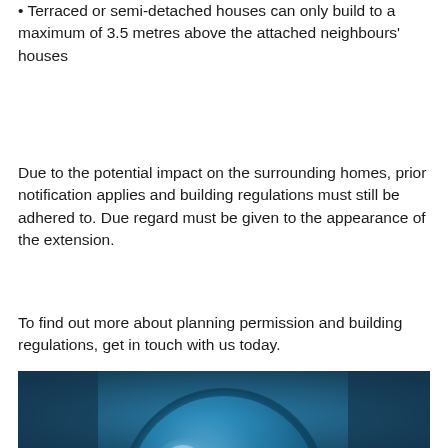Terraced or semi-detached houses can only build to a maximum of 3.5 metres above the attached neighbours' houses
Due to the potential impact on the surrounding homes, prior notification applies and building regulations must still be adhered to. Due regard must be given to the appearance of the extension.
To find out more about planning permission and building regulations, get in touch with us today.
[Figure (photo): A close-up photo of a magnifying glass or lens with blue lighting, set against a dark blue background, partially cropped at the bottom of the page.]